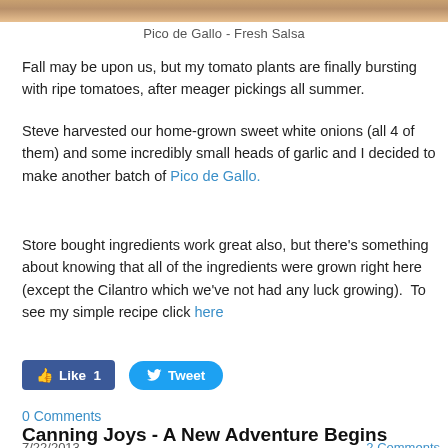[Figure (photo): Top strip of a food photo showing a bowl with Pico de Gallo / Fresh Salsa]
Pico de Gallo - Fresh Salsa
Fall may be upon us, but my tomato plants are finally bursting with ripe tomatoes, after meager pickings all summer.
Steve harvested our home-grown sweet white onions (all 4 of them) and some incredibly small heads of garlic and I decided to make another batch of Pico de Gallo.
Store bought ingredients work great also, but there’s something about knowing that all of the ingredients were grown right here (except the Cilantro which we’ve not had any luck growing).  To see my simple recipe click here
[Figure (screenshot): Social sharing buttons: Facebook Like (1) and Twitter Tweet]
0 Comments
Canning Joys - A New Adventure Begins
7/22/2013    2 Comments